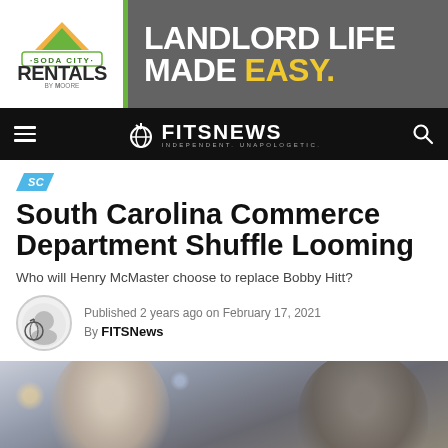[Figure (logo): Soda City Rentals by Moore advertisement banner. Left side has logo on white background, right side on dark gray background reads LANDLORD LIFE MADE EASY. with EASY in yellow.]
FITSNEWS INDEPENDENT. UNAPOLOGETIC.
SC
South Carolina Commerce Department Shuffle Looming
Who will Henry McMaster choose to replace Bobby Hitt?
Published 2 years ago on February 17, 2021
By FITSNews
[Figure (photo): Blurry photograph of two people, appearing to be at an event, taken from behind/side angle. Bokeh background lights visible.]